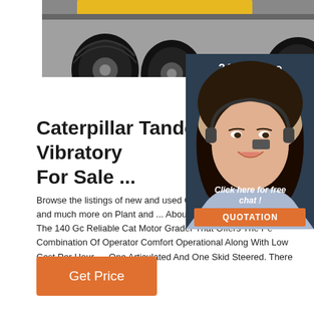[Figure (photo): Top portion of a yellow Caterpillar heavy equipment machine (possibly a compactor or roller), showing large black tires/wheels against a grey floor. The image is cropped showing mainly the tires and bottom of the machine body.]
[Figure (photo): Customer service representative — a woman with dark hair wearing a headset and blue shirt, smiling. Dark background panel with '24/7 Online' text at top, 'Click here for free chat!' text, and an orange 'QUOTATION' button.]
Caterpillar Tandem Vibratory For Sale ...
Browse the listings of new and used Caterpilla Vibratory Rollers and much more on Plant and ... About Cat 140 Gc Motor Grader The 140 Gc Reliable Cat Motor Grader That Offers The Pe Combination Of Operator Comfort Operational Along With Low Cost Per Hour. ... One Articulated And One Skid Steered. There Are ...
Get Price